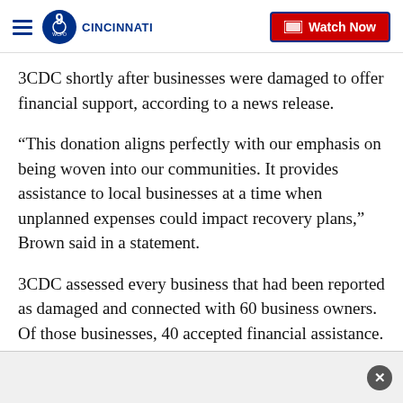WCPO 9 Cincinnati — Watch Now
3CDC shortly after businesses were damaged to offer financial support, according to a news release.
“This donation aligns perfectly with our emphasis on being woven into our communities. It provides assistance to local businesses at a time when unplanned expenses could impact recovery plans,” Brown said in a statement.
3CDC assessed every business that had been reported as damaged and connected with 60 business owners. Of those businesses, 40 accepted financial assistance.